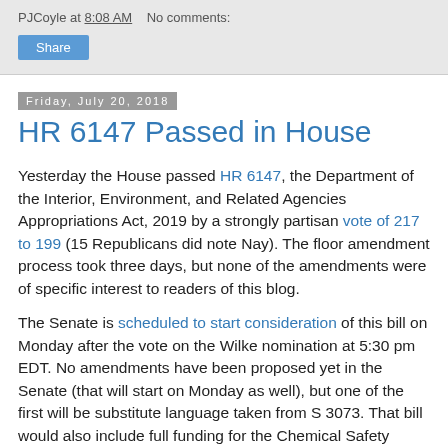PJCoyle at 8:08 AM   No comments:
Share
Friday, July 20, 2018
HR 6147 Passed in House
Yesterday the House passed HR 6147, the Department of the Interior, Environment, and Related Agencies Appropriations Act, 2019 by a strongly partisan vote of 217 to 199 (15 Republicans did note Nay). The floor amendment process took three days, but none of the amendments were of specific interest to readers of this blog.
The Senate is scheduled to start consideration of this bill on Monday after the vote on the Wilke nomination at 5:30 pm EDT. No amendments have been proposed yet in the Senate (that will start on Monday as well), but one of the first will be substitute language taken from S 3073. That bill would also include full funding for the Chemical Safety Board, but at $11